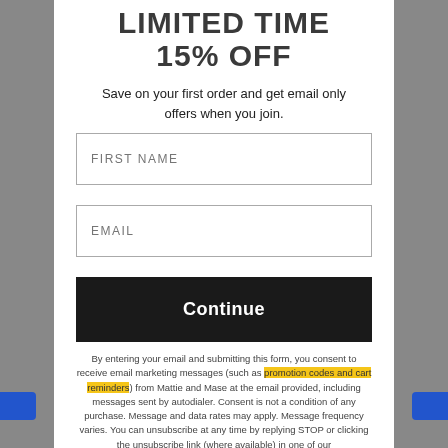LIMITED TIME
15% OFF
Save on your first order and get email only offers when you join.
FIRST NAME
EMAIL
Continue
By entering your email and submitting this form, you consent to receive email marketing messages (such as promotion codes and cart reminders) from Mattie and Mase at the email provided, including messages sent by autodialer. Consent is not a condition of any purchase. Message and data rates may apply. Message frequency varies. You can unsubscribe at any time by replying STOP or clicking the unsubscribe link (where available) in one of our messages. View our Privacy Policy and Terms of Service.